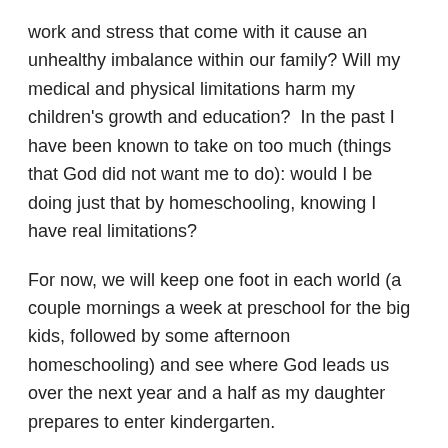work and stress that come with it cause an unhealthy imbalance within our family? Will my medical and physical limitations harm my children's growth and education?  In the past I have been known to take on too much (things that God did not want me to do): would I be doing just that by homeschooling, knowing I have real limitations?
For now, we will keep one foot in each world (a couple mornings a week at preschool for the big kids, followed by some afternoon homeschooling) and see where God leads us over the next year and a half as my daughter prepares to enter kindergarten.
If you are a homeschooling family, how have you persevered with school through difficult life seasons? Or if you concluded that it was not God's will for your family to homeschool, what were the limitations and realizations in your home that led you